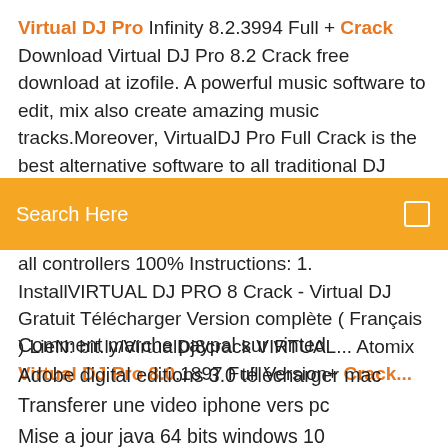Virtual DJ Pro Infinity 8.2.3994 Full + Crack Download Virtual DJ Pro 8.2 Crack free download at izofile. A powerful music software to edit, mix also create amazing music tracks.Moreover, VirtualDJ Pro Full Crack is the best alternative software to all traditional DJ tools. The software helps
[Figure (screenshot): Orange search bar with 'Search Here' text and a small square icon on the right]
all controllers 100% Instructions: 1. InstallVIRTUAL DJ PRO 8 Crack - Virtual DJ Gratuit Télécharger Version complète ( Français ) LieN: bit.ly/VirtualDj8crack VIRTUAL... Atomix Virtual DJ Pro 8.0.1897 Full Version+ Crack...
Comment marche paypal sur vinted
Adobe digital editions 3.0 télécharger mac
Transferer une video iphone vers pc
Mise a jour java 64 bits windows 10
Impossible installer open office windows 10